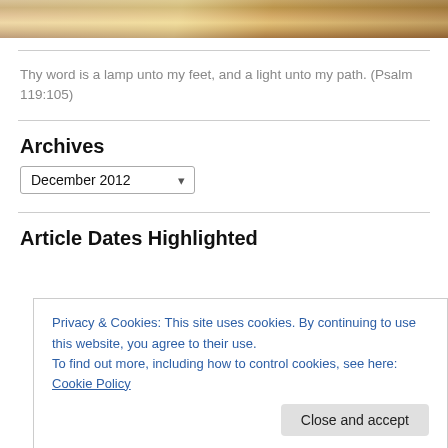[Figure (photo): Top strip showing a partial photo of wooden background with warm brown tones and light reflection]
Thy word is a lamp unto my feet, and a light unto my path. (Psalm 119:105)
Archives
December 2012 (dropdown)
Article Dates Highlighted
Privacy & Cookies: This site uses cookies. By continuing to use this website, you agree to their use.
To find out more, including how to control cookies, see here: Cookie Policy
Close and accept